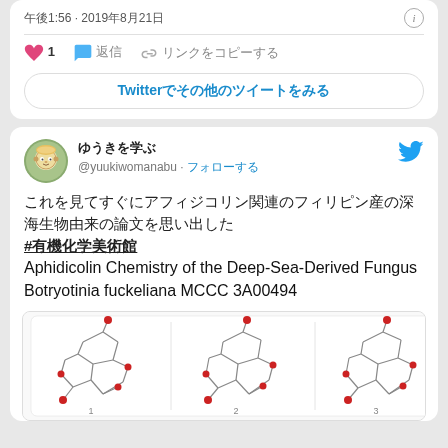午後1:56 · 2019年8月21日
♥ 1  💬 返信  🔗 リンクをコピーする
Twitterでその他のツイートをみる
ゆうきを学ぶ
@yuukiwomanabu · フォローする
これを見てすぐにアフィジコリン関連のフィリピン産の深海生物由来の論文を思い出した
#有機化学美術館
Aphidicolin Chemistry of the Deep-Sea-Derived Fungus Botryotinia fuckeliana MCCC 3A00494
[Figure (photo): Molecular structure diagrams of aphidicolin-related compounds from deep-sea fungus, showing 3D ball-and-stick models arranged in a grid]